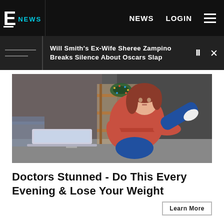E NEWS  NEWS  LOGIN
Will Smith's Ex-Wife Sheree Zampino Breaks Silence About Oscars Slap
[Figure (photo): A plus-size woman in a red top and blue leggings stretching/exercising at home, with a laptop in front of her and decorative shelving in the background.]
Doctors Stunned - Do This Every Evening & Lose Your Weight
Learn More